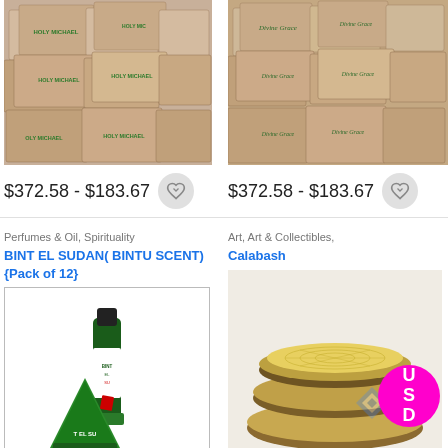[Figure (photo): Stack of Holy Michael soap boxes with green text and figure logo]
$372.58 - $183.67
[Figure (photo): Stack of Divine Grace soap boxes with green figure logo]
$372.58 - $183.67
Perfumes & Oil, Spirituality
BINT EL SUDAN( BINTU SCENT) {Pack of 12}
[Figure (photo): Bint El Sudan perfume bottle and green pyramid packet]
Art, Art & Collectibles,
Calabash
[Figure (photo): Stacked calabash bowls on white background with USD badge and reCAPTCHA watermark]
Privacy · Terms